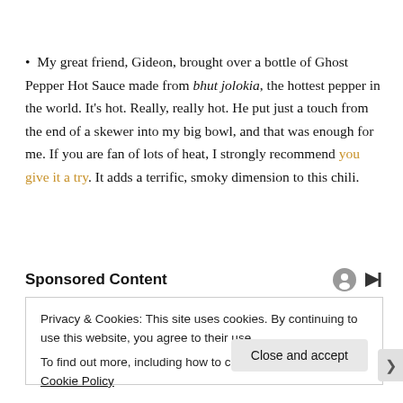My great friend, Gideon, brought over a bottle of Ghost Pepper Hot Sauce made from bhut jolokia, the hottest pepper in the world. It’s hot. Really, really hot. He put just a touch from the end of a skewer into my big bowl, and that was enough for me. If you are fan of lots of heat, I strongly recommend you give it a try. It adds a terrific, smoky dimension to this chili.
Sponsored Content
Privacy & Cookies: This site uses cookies. By continuing to use this website, you agree to their use.
To find out more, including how to control cookies, see here: Cookie Policy